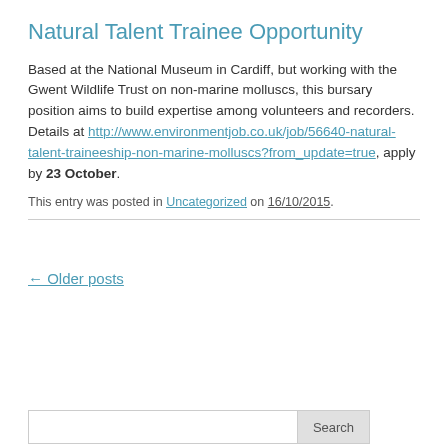Natural Talent Trainee Opportunity
Based at the National Museum in Cardiff, but working with the Gwent Wildlife Trust on non-marine molluscs, this bursary position aims to build expertise among volunteers and recorders.  Details at http://www.environmentjob.co.uk/job/56640-natural-talent-traineeship-non-marine-molluscs?from_update=true, apply by 23 October.
This entry was posted in Uncategorized on 16/10/2015.
← Older posts